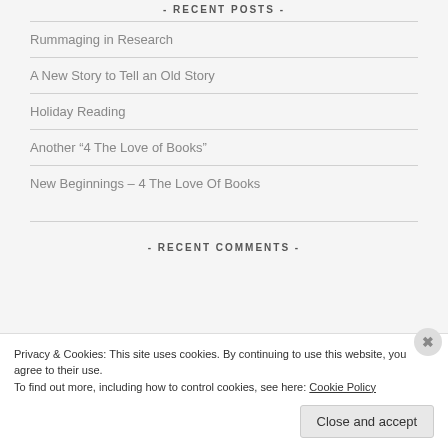- RECENT POSTS -
Rummaging in Research
A New Story to Tell an Old Story
Holiday Reading
Another “4 The Love of Books”
New Beginnings – 4 The Love Of Books
- RECENT COMMENTS -
Privacy & Cookies: This site uses cookies. By continuing to use this website, you agree to their use.
To find out more, including how to control cookies, see here: Cookie Policy
Close and accept